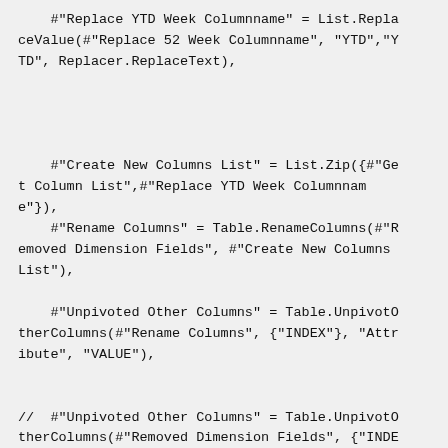#"Replace YTD Week Columnname" = List.ReplaceValue(#"Replace 52 Week Columnname", "YTD","YTD", Replacer.ReplaceText),



    #"Create New Columns List" = List.Zip({#"Get Column List",#"Replace YTD Week Columnname"}),
    #"Rename Columns" = Table.RenameColumns(#"Removed Dimension Fields", #"Create New Columns List"),

    #"Unpivoted Other Columns" = Table.UnpivotOtherColumns(#"Rename Columns", {"INDEX"}, "Attribute", "VALUE"),


//  #"Unpivoted Other Columns" = Table.UnpivotOtherColumns(#"Removed Dimension Fields", {"INDEX"}, "Attribute", "Value"),